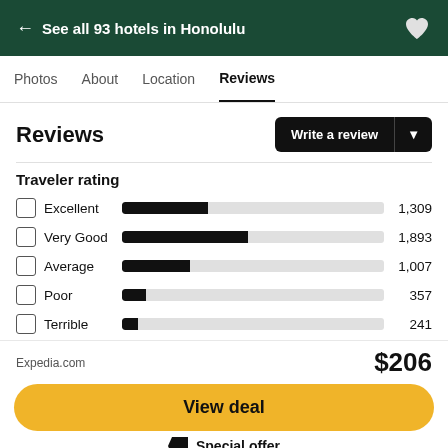← See all 93 hotels in Honolulu
Photos  About  Location  Reviews
Reviews
Write a review
Traveler rating
[Figure (bar-chart): Traveler rating]
Expedia.com  $206
View deal
Special offer